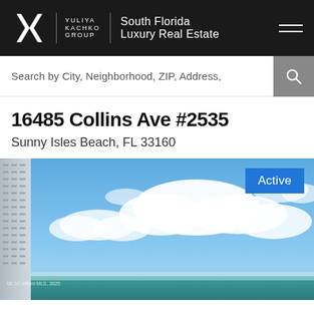YULIYA KACHKO GROUP | South Florida Luxury Real Estate
Search by City, Neighborhood, ZIP, Address,
16485 Collins Ave #2535
Sunny Isles Beach, FL 33160
[Figure (photo): Exterior daytime photo of a high-rise condo building on the left side against a bright blue sky with white clouds, and a teal ocean view in the lower portion. An 'Active' badge appears in the top right corner. A watermark reads 'MLS © Miami MLS, 2025' in the lower left.]